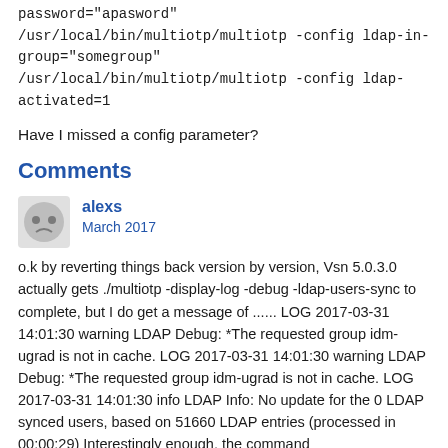password="apasword"
/usr/local/bin/multiotp/multiotp -config ldap-in-group="somegroup"
/usr/local/bin/multiotp/multiotp -config ldap-activated=1
Have I missed a config parameter?
Comments
alexs
March 2017
o.k by reverting things back version by version, Vsn 5.0.3.0 actually gets ./multiotp -display-log -debug -ldap-users-sync to complete, but I do get a message of ...... LOG 2017-03-31 14:01:30 warning LDAP Debug: *The requested group idm-ugrad is not in cache. LOG 2017-03-31 14:01:30 warning LDAP Debug: *The requested group idm-ugrad is not in cache. LOG 2017-03-31 14:01:30 info LDAP Info: No update for the 0 LDAP synced users, based on 51660 LDAP entries (processed in 00:00:29) Interestingly enough, the command /usr/local/bin/multiotp/multiotp -display-log -ldap-users-list returns with ... lots of messages of the form... LOG 2017-03-31 14:05:14 warning LDAP Debug: *The requested group g0000pg is not in cache. LOG 2017-03-31 14:05:14 warning LDAP Debug: *The requested